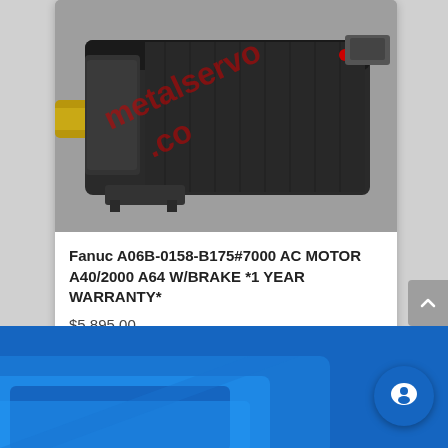[Figure (photo): Photo of a Fanuc AC servo motor (black cylindrical motor with gold shaft end, red indicators, gray background), watermarked with 'metalservo.co' in red diagonal text]
Fanuc A06B-0158-B175#7000 AC MOTOR A40/2000 A64 W/BRAKE *1 YEAR WARRANTY*
$5,895.00
[Figure (photo): Blue machinery/equipment partially visible at the bottom of the page]
[Figure (illustration): Blue circular chat/support button icon in the bottom right corner]